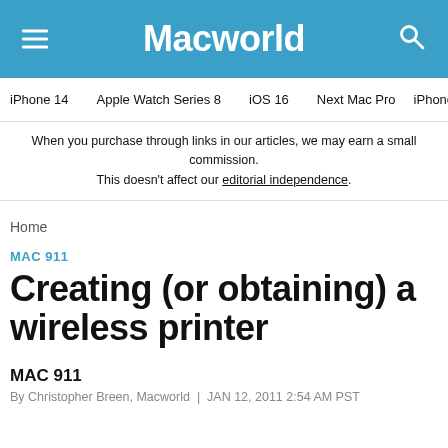Macworld
iPhone 14 | Apple Watch Series 8 | iOS 16 | Next Mac Pro | iPhone d
When you purchase through links in our articles, we may earn a small commission. This doesn't affect our editorial independence.
Home
MAC 911
Creating (or obtaining) a wireless printer
MAC 911
By Christopher Breen, Macworld | JAN 12, 2011 2:54 AM PST